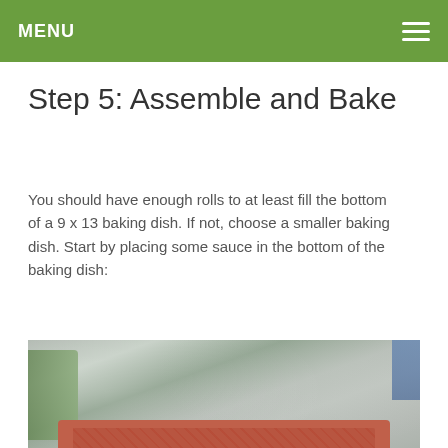MENU
Step 5: Assemble and Bake
You should have enough rolls to at least fill the bottom of a 9 x 13 baking dish. If not, choose a smaller baking dish. Start by placing some sauce in the bottom of the baking dish:
[Figure (photo): A glass baking dish with tomato sauce spread on the bottom, sitting on a marble countertop. Green vegetables visible on the left side.]